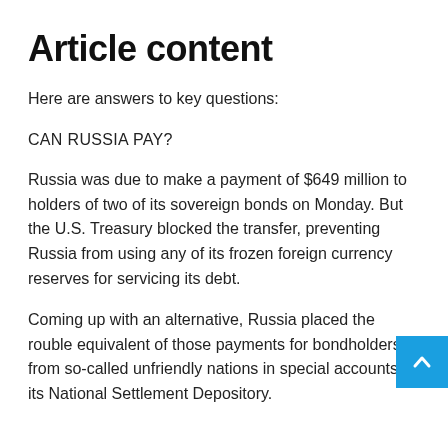Article content
Here are answers to key questions:
CAN RUSSIA PAY?
Russia was due to make a payment of $649 million to holders of two of its sovereign bonds on Monday. But the U.S. Treasury blocked the transfer, preventing Russia from using any of its frozen foreign currency reserves for servicing its debt.
Coming up with an alternative, Russia placed the rouble equivalent of those payments for bondholders from so-called unfriendly nations in special accounts at its National Settlement Depository.